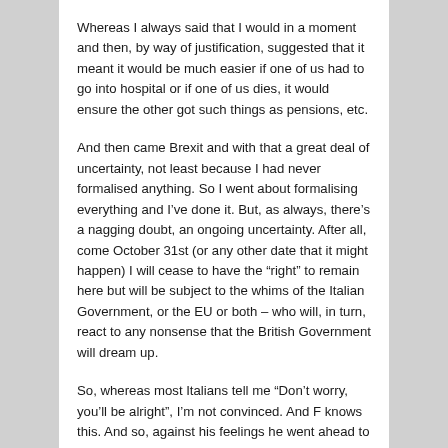Whereas I always said that I would in a moment and then, by way of justification, suggested that it meant it would be much easier if one of us had to go into hospital or if one of us dies, it would ensure the other got such things as pensions, etc.
And then came Brexit and with that a great deal of uncertainty, not least because I had never formalised anything. So I went about formalising everything and I've done it. But, as always, there's a nagging doubt, an ongoing uncertainty. After all, come October 31st (or any other date that it might happen) I will cease to have the “right” to remain here but will be subject to the whims of the Italian Government, or the EU or both – who will, in turn, react to any nonsense that the British Government will dream up.
So, whereas most Italians tell me “Don’t worry, you’ll be alright”, I’m not convinced. And F knows this. And so, against his feelings he went ahead to try and get it all done as a surprise. Except that, due to bureaucracy, it